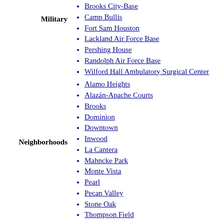Military
Brooks City-Base
Camp Bullis
Fort Sam Houston
Lackland Air Force Base
Pershing House
Randolph Air Force Base
Wilford Hall Ambulatory Surgical Center
Neighborhoods
Alamo Heights
Alazán-Apache Courts
Brooks
Dominion
Downtown
Inwood
La Cantera
Mahncke Park
Monte Vista
Pearl
Pecan Valley
Stone Oak
Thompson Field
Acequia
Botanical Garden
Brackenridge